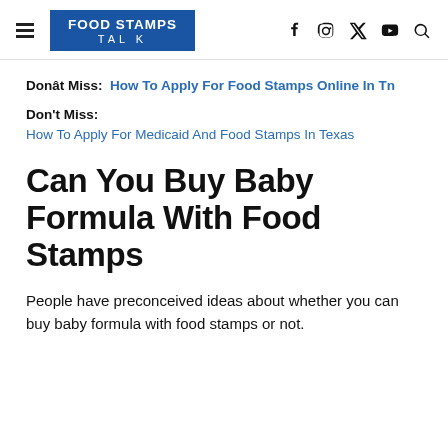FOOD STAMPS TALK
Donât Miss: How To Apply For Food Stamps Online In Tn
Don't Miss:
How To Apply For Medicaid And Food Stamps In Texas
Can You Buy Baby Formula With Food Stamps
People have preconceived ideas about whether you can buy baby formula with food stamps or not.